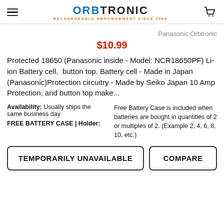ORBTRONIC — RECHARGEABLE EMPOWERMENT SINCE 2009
Panasonic Orbtronic
$10.99
Protected 18650 (Panasonic inside - Model: NCR18650PF) Li-ion Battery cell,  button top. Battery cell - Made in Japan (Panasonic)Protection circuitry - Made by Seiko Japan 10 Amp Protection, and button top make...
Availability:  Usually ships the same business day
FREE BATTERY CASE | Holder:
Free Battery Case is included when batteries are bought in quantities of 2 or multiples of 2. (Example 2, 4, 6, 8, 10, etc.)
TEMPORARILY UNAVAILABLE
COMPARE